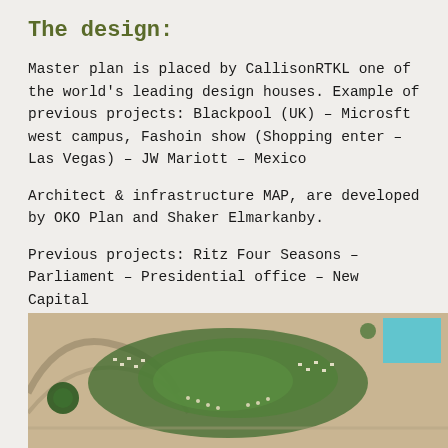The design:
Master plan is placed by CallisonRTKL one of the world’s leading design houses. Example of previous projects: Blackpool (UK) – Microsft west campus, Fashoin show (Shopping enter – Las Vegas) – JW Mariott – Mexico
Architect & infrastructure MAP, are developed by OKO Plan and Shaker Elmarkanby.
Previous projects: Ritz Four Seasons – Parliament – Presidential office – New Capital
[Figure (photo): Aerial view of a master plan development showing green landscaped areas, curved roads, clusters of buildings/units arranged in patterns, and a cyan/teal highlighted area in the upper right corner. Sandy/desert ground visible.]